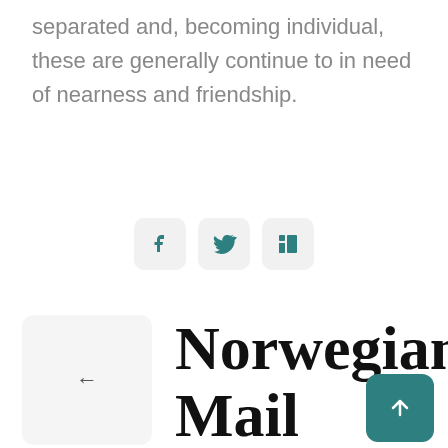separated and, becoming individual, these are generally continue to in need of nearness and friendship.
[Figure (infographic): Three social media share buttons: Facebook, Twitter/X, and LinkedIn, displayed as rounded square icons with teal icons on light grey backgrounds.]
[Figure (infographic): Navigation back button (left arrow) as a light grey rounded square.]
Norwegian Mail Order Brides:
[Figure (infographic): Scroll-to-top button: teal rounded square with white upward arrow.]